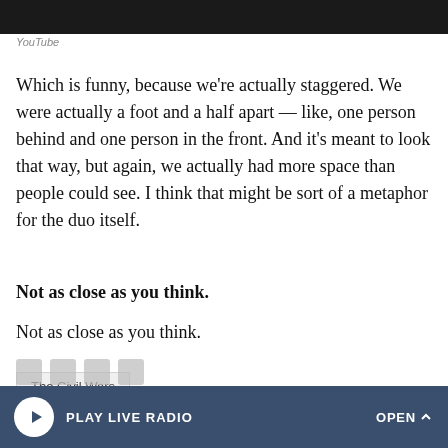[Figure (photo): Dark image strip at top of page (YouTube video thumbnail)]
YouTube
Which is funny, because we're actually staggered. We were actually a foot and a half apart — like, one person behind and one person in the front. And it's meant to look that way, but again, we actually had more space than people could see. I think that might be sort of a metaphor for the duo itself.
Not as close as you think.
Not as close as you think.
The Civil Wars
PLAY LIVE RADIO   OPEN ^